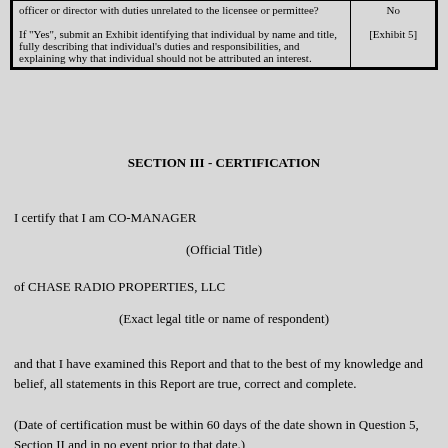| officer or director with duties unrelated to the licensee or permittee?

If "Yes", submit an Exhibit identifying that individual by name and title, fully describing that individual's duties and responsibilities, and explaining why that individual should not be attributed an interest. | No

[Exhibit 5] |
SECTION III - CERTIFICATION
I certify that I am CO-MANAGER
(Official Title)
of CHASE RADIO PROPERTIES, LLC
(Exact legal title or name of respondent)
and that I have examined this Report and that to the best of my knowledge and belief, all statements in this Report are true, correct and complete.
(Date of certification must be within 60 days of the date shown in Question 5, Section II and in no event prior to that date.)